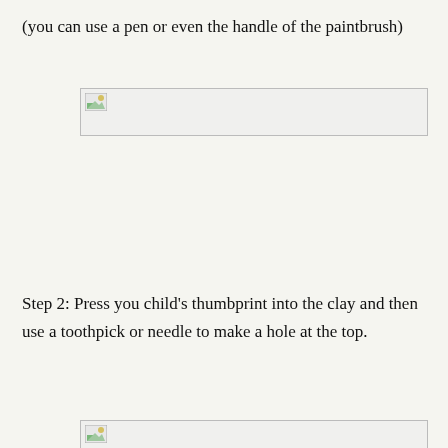(you can use a pen or even the handle of the paintbrush)
[Figure (photo): Placeholder image box with broken image icon at top-left, representing a photo of the craft step]
Step 2: Press you child's thumbprint into the clay and then use a toothpick or needle to make a hole at the top.
[Figure (photo): Placeholder image box at bottom of page with broken image icon at top-left]